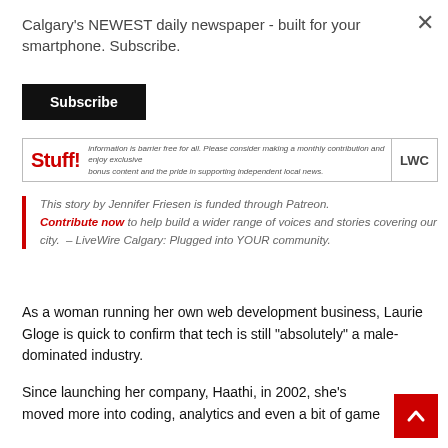Calgary's NEWEST daily newspaper - built for your smartphone. Subscribe.
Subscribe
[Figure (other): Advertisement banner for Stuff! with LWC logo and text about barrier-free information and monthly contributions]
This story by Jennifer Friesen is funded through Patreon. Contribute now to help build a wider range of voices and stories covering our city.  – LiveWire Calgary: Plugged into YOUR community.
As a woman running her own web development business, Laurie Gloge is quick to confirm that tech is still “absolutely” a male-dominated industry.
Since launching her company, Haathi, in 2002, she’s moved more into coding, analytics and even a bit of game